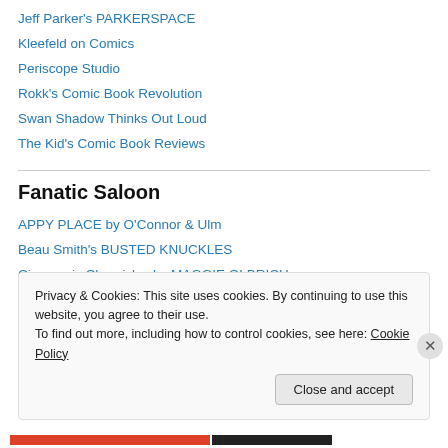Jeff Parker's PARKERSPACE
Kleefeld on Comics
Periscope Studio
Rokk's Comic Book Revolution
Swan Shadow Thinks Out Loud
The Kid's Comic Book Reviews
Fanatic Saloon
APPY PLACE by O'Connor & Ulm
Beau Smith's BUSTED KNUCKLES
Cinemanic Chronicles by MAGGIE OLBRICH
Comic Career.com by Kirk Chritton
Privacy & Cookies: This site uses cookies. By continuing to use this website, you agree to their use.
To find out more, including how to control cookies, see here: Cookie Policy
Close and accept